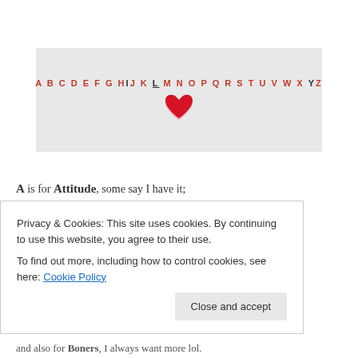[Figure (illustration): A photobucket watermarked image showing alphabet letters A-Z in red and dark color with a red heart below, on a light gray background.]
A is for Attitude, some say I have it;
Privacy & Cookies: This site uses cookies. By continuing to use this website, you agree to their use. To find out more, including how to control cookies, see here: Cookie Policy
and also for Boners, I always want more lol.